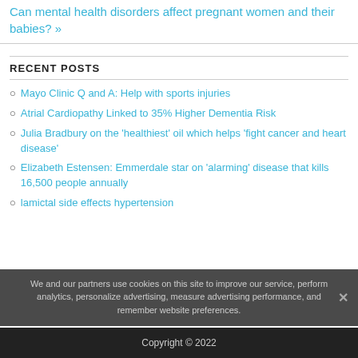Can mental health disorders affect pregnant women and their babies? »
RECENT POSTS
Mayo Clinic Q and A: Help with sports injuries
Atrial Cardiopathy Linked to 35% Higher Dementia Risk
Julia Bradbury on the 'healthiest' oil which helps 'fight cancer and heart disease'
Elizabeth Estensen: Emmerdale star on 'alarming' disease that kills 16,500 people annually
lamictal side effects hypertension
We and our partners use cookies on this site to improve our service, perform analytics, personalize advertising, measure advertising performance, and remember website preferences.
Copyright © 2022